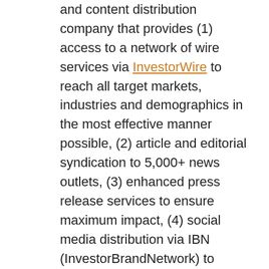and content distribution company that provides (1) access to a network of wire services via InvestorWire to reach all target markets, industries and demographics in the most effective manner possible, (2) article and editorial syndication to 5,000+ news outlets, (3) enhanced press release services to ensure maximum impact, (4) social media distribution via IBN (InvestorBrandNetwork) to nearly 2 million followers, and (5) a full array of corporate communications solutions As a multifaceted organization with an extensive team of contributing journalists and writers, CCW is uniquely positioned to best serve private and public companies that desire to reach a wide audience of investors, consumers, journalists and the general public. By cutting through the overload of information in today's market, CCW brings its